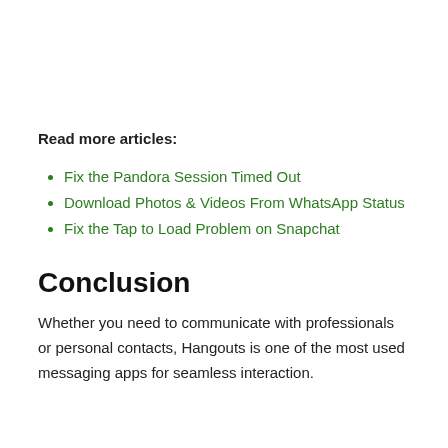Read more articles:
Fix the Pandora Session Timed Out
Download Photos & Videos From WhatsApp Status
Fix the Tap to Load Problem on Snapchat
Conclusion
Whether you need to communicate with professionals or personal contacts, Hangouts is one of the most used messaging apps for seamless interaction.